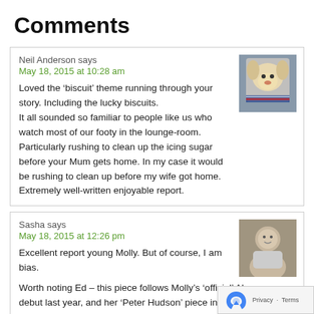Comments
Neil Anderson says
May 18, 2015 at 10:28 am

Loved the ‘biscuit’ theme running through your story. Including the lucky biscuits.
It all sounded so familiar to people like us who watch most of our footy in the lounge-room.
Particularly rushing to clean up the icing sugar before your Mum gets home. In my case it would be rushing to clean up before my wife got home.
Extremely well-written enjoyable report.
Sasha says
May 18, 2015 at 12:26 pm

Excellent report young Molly. But of course, I am bias.

Worth noting Ed – this piece follows Molly’s ‘official’ Almanac debut last year, and her ‘Peter Hudson’ piece in the book. Just brilliant! :-)